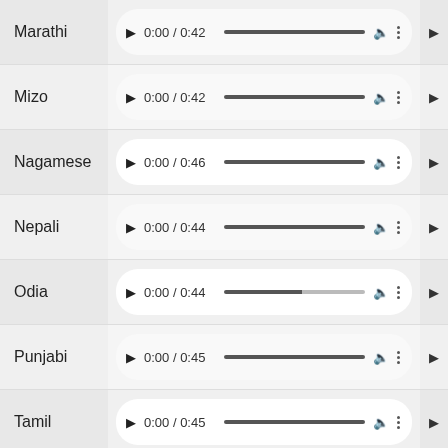| Language | Audio Player |  |
| --- | --- | --- |
| Marathi | ▶ 0:00 / 0:42 [progress bar] 🔊 ⋮ | ▶ |
| Mizo | ▶ 0:00 / 0:42 [progress bar] 🔊 ⋮ | ▶ |
| Nagamese | ▶ 0:00 / 0:46 [progress bar] 🔊 ⋮ | ▶ |
| Nepali | ▶ 0:00 / 0:44 [progress bar] 🔊 ⋮ | ▶ |
| Odia | ▶ 0:00 / 0:44 [progress bar] 🔊 ⋮ | ▶ |
| Punjabi | ▶ 0:00 / 0:45 [progress bar] 🔊 ⋮ | ▶ |
| Tamil | ▶ 0:00 / 0:45 [progress bar] 🔊 ⋮ | ▶ |